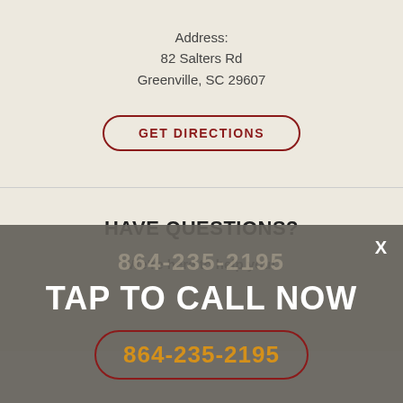Address:
82 Salters Rd
Greenville, SC 29607
GET DIRECTIONS
HAVE QUESTIONS?
We're here to help you!
864-235-2195
TAP TO CALL NOW
864-235-2195